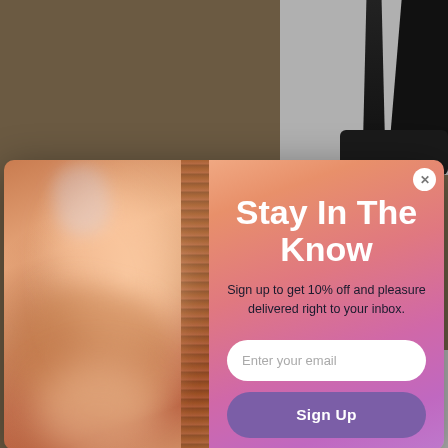[Figure (screenshot): A website modal popup overlaying a blurred e-commerce background. The left half of the modal shows an abstract blurry photo. The right half has a gradient background (peach to pink/purple) with the text 'Stay In The Know', a subtitle about signing up for 10% off, an email input field, and a purple 'Sign Up' button. A close (X) button is in the top right corner of the modal.]
Stay In The Know
Sign up to get 10% off and pleasure delivered right to your inbox.
Enter your email
Sign Up